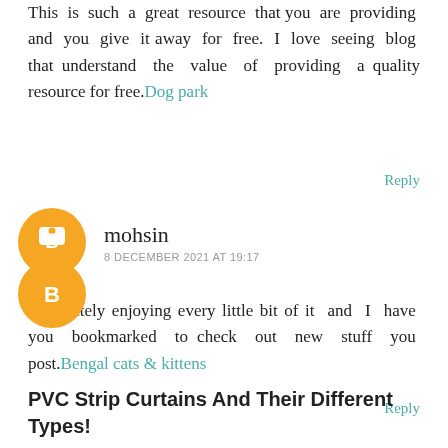This is such a great resource that you are providing and you give it away for free. I love seeing blog that understand the value of providing a quality resource for free.Dog park
Reply
mohsin
8 DECEMBER 2021 AT 19:17
I definitely enjoying every little bit of it and I have you bookmarked to check out new stuff you post.Bengal cats & kittens
Reply
PVC Strip Curtains And Their Different Types!